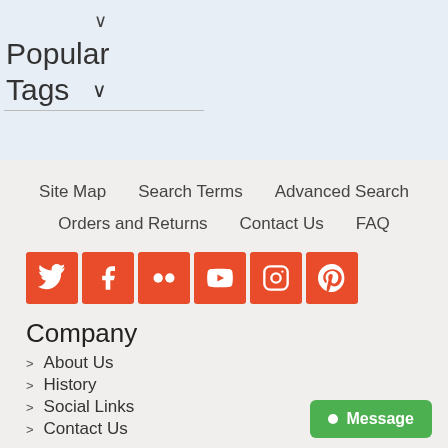Popular Tags ∨
Site Map   Search Terms   Advanced Search
Orders and Returns   Contact Us   FAQ
[Figure (other): Row of 6 orange social media icon buttons: Twitter, Facebook, Flickr, YouTube, Instagram, Pinterest]
Company
About Us
History
Social Links
Contact Us
● Message